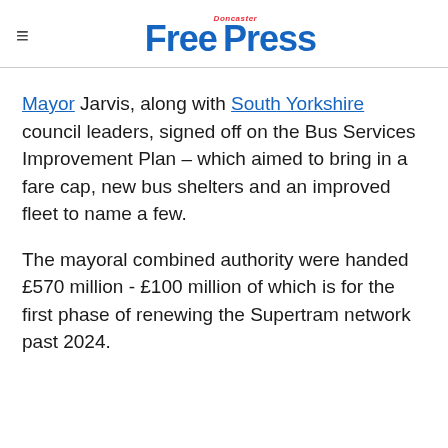Doncaster Free Press
Mayor Jarvis, along with South Yorkshire council leaders, signed off on the Bus Services Improvement Plan – which aimed to bring in a fare cap, new bus shelters and an improved fleet to name a few.
The mayoral combined authority were handed £570 million - £100 million of which is for the first phase of renewing the Supertram network past 2024.